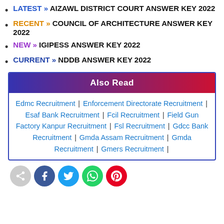LATEST » AIZAWL DISTRICT COURT ANSWER KEY 2022
RECENT » COUNCIL OF ARCHITECTURE ANSWER KEY 2022
NEW » IGIPESS ANSWER KEY 2022
CURRENT » NDDB ANSWER KEY 2022
Also Read
Edmc Recruitment | Enforcement Directorate Recruitment | Esaf Bank Recruitment | Fcil Recruitment | Field Gun Factory Kanpur Recruitment | Fsl Recruitment | Gdcc Bank Recruitment | Gmda Assam Recruitment | Gmda Recruitment | Gmers Recruitment |
[Figure (infographic): Social sharing buttons row: grey share button, Facebook, Twitter, WhatsApp, Pinterest]